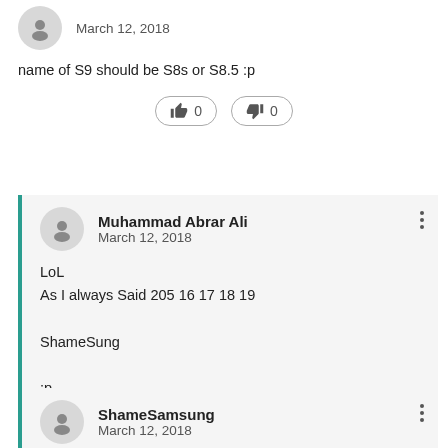March 12, 2018
name of S9 should be S8s or S8.5 :p
👍 0  👎 0
Muhammad Abrar Ali
March 12, 2018
LoL
As I always Said 205 16 17 18 19

ShameSung

:p
👍 0  👎 0
ShameSamsung
March 12, 2018